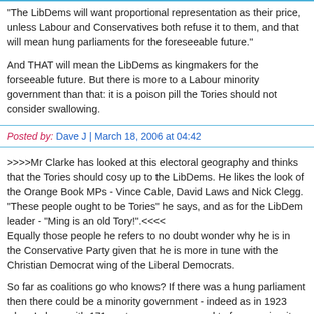"The LibDems will want proportional representation as their price, unless Labour and Conservatives both refuse it to them, and that will mean hung parliaments for the foreseeable future."
And THAT will mean the LibDems as kingmakers for the forseeable future. But there is more to a Labour minority government than that: it is a poison pill the Tories should not consider swallowing.
Posted by: Dave J | March 18, 2006 at 04:42
>>>>Mr Clarke has looked at this electoral geography and thinks that the Tories should cosy up to the LibDems. He likes the look of the Orange Book MPs - Vince Cable, David Laws and Nick Clegg. "These people ought to be Tories" he says, and as for the LibDem leader - "Ming is an old Tory!".<<<< Equally those people he refers to no doubt wonder why he is in the Conservative Party given that he is more in tune with the Christian Democrat wing of the Liberal Democrats.
So far as coalitions go who knows? If there was a hung parliament then there could be a minority government - indeed as in 1923 when Labour with 171 seats were encouraged to form a minority government by the Conservative Party might not be the best outcome in the event of with what